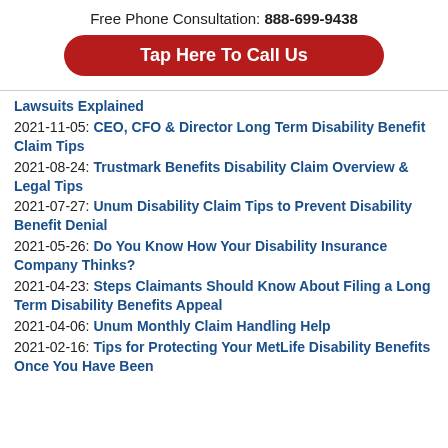Free Phone Consultation: 888-699-9438
Tap Here To Call Us
Lawsuits Explained
2021-11-05: CEO, CFO & Director Long Term Disability Benefit Claim Tips
2021-08-24: Trustmark Benefits Disability Claim Overview & Legal Tips
2021-07-27: Unum Disability Claim Tips to Prevent Disability Benefit Denial
2021-05-26: Do You Know How Your Disability Insurance Company Thinks?
2021-04-23: Steps Claimants Should Know About Filing a Long Term Disability Benefits Appeal
2021-04-06: Unum Monthly Claim Handling Help
2021-02-16: Tips for Protecting Your MetLife Disability Benefits Once You Have Been Approved